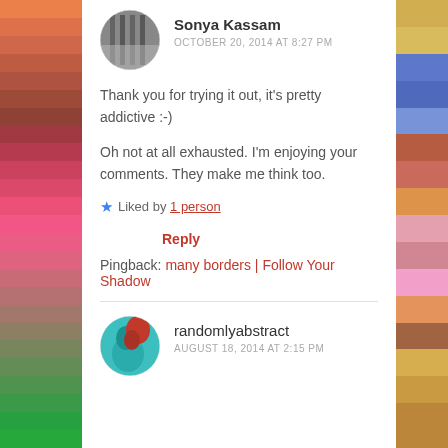[Figure (photo): Circular avatar photo of Sonya Kassam, black and white image showing what appears to be an interior with vertical bars]
Sonya Kassam
OCTOBER 20, 2014 AT 8:27 PM
Thank you for trying it out, it's pretty addictive :-)
Oh not at all exhausted. I'm enjoying your comments. They make me think too.
★ Liked by 1 person
Reply
Pingback: many borders | Follow Your Shadow
[Figure (photo): Circular avatar image showing a teal/turquoise background with a red rooster/chicken illustration]
randomlyabstract
AUGUST 18, 2014 AT 2:15 PM